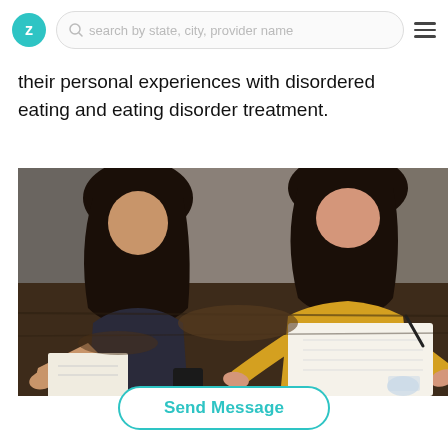Z  search by state, city, provider name  ≡
their personal experiences with disordered eating and eating disorder treatment.
[Figure (photo): Two women sitting at a wooden table outdoors, both writing in notebooks. The woman on the left has long dark hair and is leaning forward. The woman on the right wears a yellow long-sleeve top and is writing with a pen.]
Send Message